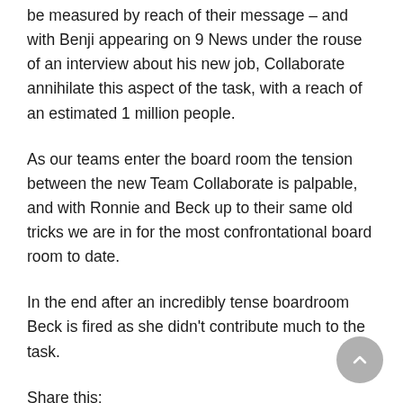be measured by reach of their message – and with Benji appearing on 9 News under the rouse of an interview about his new job, Collaborate annihilate this aspect of the task, with a reach of an estimated 1 million people.
As our teams enter the board room the tension between the new Team Collaborate is palpable, and with Ronnie and Beck up to their same old tricks we are in for the most confrontational board room to date.
In the end after an incredibly tense boardroom Beck is fired as she didn't contribute much to the task.
Share this: